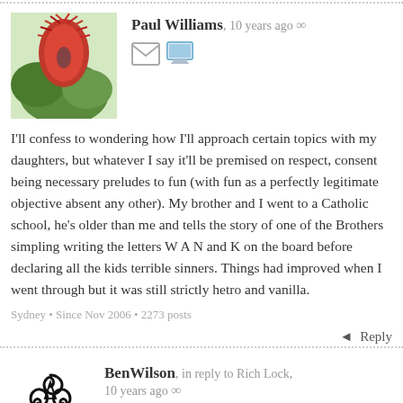[Figure (photo): Avatar photo of Paul Williams - red flowering plant/bird]
Paul Williams, 10 years ago ∞
I'll confess to wondering how I'll approach certain topics with my daughters, but whatever I say it'll be premised on respect, consent being necessary preludes to fun (with fun as a perfectly legitimate objective absent any other). My brother and I went to a Catholic school, he's older than me and tells the story of one of the Brothers simpling writing the letters W A N and K on the board before declaring all the kids terrible sinners. Things had improved when I went through but it was still strictly hetro and vanilla.
Sydney • Since Nov 2006 • 2273 posts
Reply
[Figure (logo): Avatar for BenWilson - triskelion / triple spiral symbol in black]
BenWilson, in reply to Rich Lock, 10 years ago ∞
Can you imagine a female schoolteacher standing